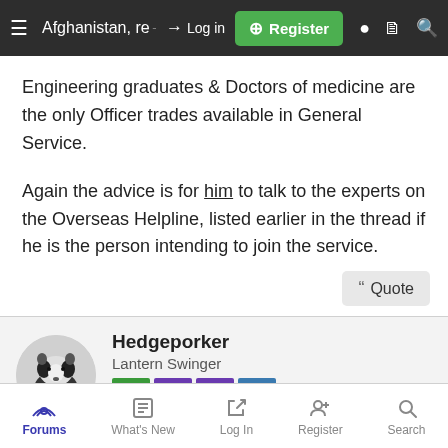Afghanistan, regardless of... Log in Register
Engineering graduates & Doctors of medicine are the only Officer trades available in General Service.
Again the advice is for him to talk to the experts on the Overseas Helpline, listed earlier in the thread if he is the person intending to join the service.
Quote
Hedgeporker
Lantern Swinger
Forums  What's New  Log In  Register  Search